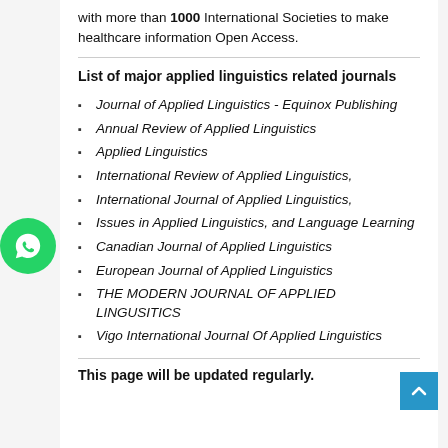with more than 1000 International Societies to make healthcare information Open Access.
List of major applied linguistics related journals
Journal of Applied Linguistics - Equinox Publishing
Annual Review of Applied Linguistics
Applied Linguistics
International Review of Applied Linguistics,
International Journal of Applied Linguistics,
Issues in Applied Linguistics, and Language Learning
Canadian Journal of Applied Linguistics
European Journal of Applied Linguistics
THE MODERN JOURNAL OF APPLIED LINGUSITICS
Vigo International Journal Of Applied Linguistics
This page will be updated regularly.